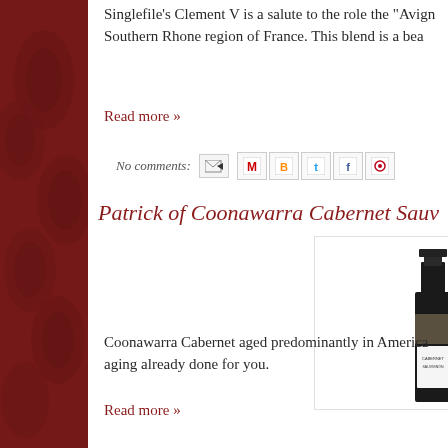Singlefile's Clement V is a salute to the role the "Avign... Southern Rhone region of France. This blend is a bea...
Read more »
No comments:
Patrick of Coonawarra Cabernet Sauv...
[Figure (photo): Wine bottle with black label showing Cabernet Sauvignon]
Coonawarra Cabernet aged predominantly in America... aging already done for you.
Read more »